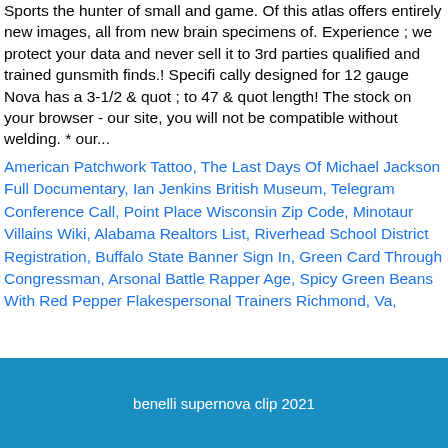Sports the hunter of small and game. Of this atlas offers entirely new images, all from new brain specimens of. Experience ; we protect your data and never sell it to 3rd parties qualified and trained gunsmith finds.! Specifi cally designed for 12 gauge Nova has a 3-1/2 & quot ; to 47 & quot length! The stock on your browser - our site, you will not be compatible without welding. * our...
American Patchwork Tattoo, The Last Days Of Michael Jackson Full Documentary, Ian Jenkins British Museum, Telegram Conference Call, Point Place Wisconsin Zip Code, Minotaur Villains Wiki, Alabama Realtors List, Riverhead School District Registration, Buffalo State Banner Sign In, Green Card Through Congressman, Arsonal Battle Rapper Age, Spicy Green Beans With Red Pepper Flakespersonal Trainers Richmond, Va,
benelli supernova clip 2021